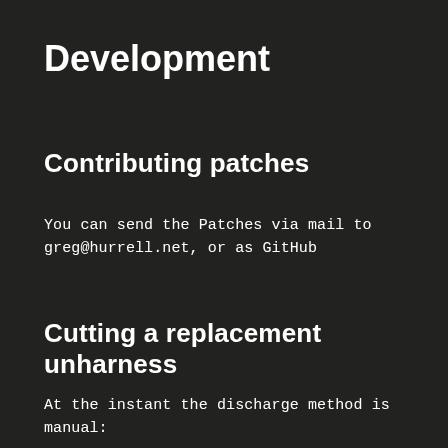Development
Contributing patches
You can send the Patches via mail to greg@hurrell.net, or as GitHub
Cutting a replacement unharness
At the instant the discharge method is manual: